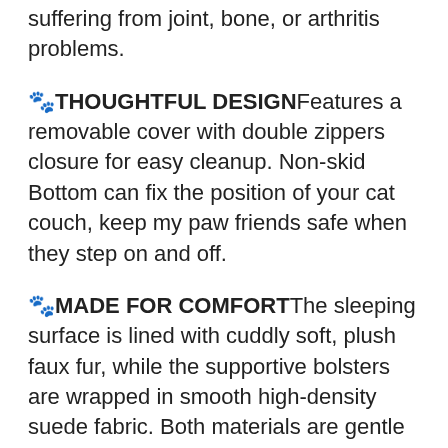suffering from joint, bone, or arthritis problems.
🐾 THOUGHTFUL DESIGN Features a removable cover with double zippers closure for easy cleanup. Non-skid Bottom can fix the position of your cat couch, keep my paw friends safe when they step on and off.
🐾 MADE FOR COMFORT The sleeping surface is lined with cuddly soft, plush faux fur, while the supportive bolsters are wrapped in smooth high-density suede fabric. Both materials are gentle on noses and paws for your dogs or cats to sprawl out comfortably and snuggle in, warm and cozy.
🐾 MULTIPLE CHOICES : The pet bed is suitable for large, medium and small dogs and cats of any